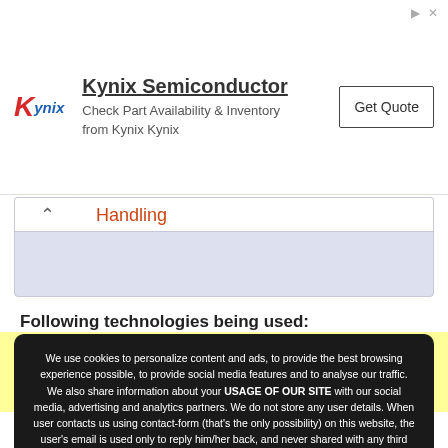[Figure (screenshot): Kynix Semiconductor advertisement banner with logo, tagline 'Check Part Availability & Inventory from Kynix Kynix', and Get Quote button]
Handling
Following technologies being used:
We use cookies to personalize content and ads, to provide the best browsing experience possible, to provide social media features and to analyse our traffic. We also share information about your USAGE OF OUR SITE with our social media, advertising and analytics partners. We do not store any user details. When user contacts us using contact-form (that's the only possibility) on this website, the user's email is used only to reply him/her back, and never shared with any third party. We do not use any mass-mailing. Hence we strongly believe to be in accordance with GDPR compliance as well. By continuing to use the site, you agree to the use of cookies. more information
Maven 3
JDK 1.6